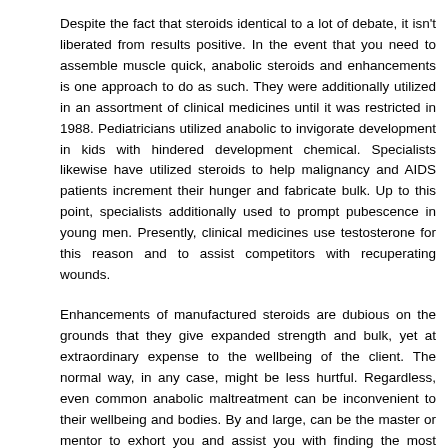Despite the fact that steroids identical to a lot of debate, it isn't liberated from results positive. In the event that you need to assemble muscle quick, anabolic steroids and enhancements is one approach to do as such. They were additionally utilized in an assortment of clinical medicines until it was restricted in 1988. Pediatricians utilized anabolic to invigorate development in kids with hindered development chemical. Specialists likewise have utilized steroids to help malignancy and AIDS patients increment their hunger and fabricate bulk. Up to this point, specialists additionally used to prompt pubescence in young men. Presently, clinical medicines use testosterone for this reason and to assist competitors with recuperating wounds.
Enhancements of manufactured steroids are dubious on the grounds that they give expanded strength and bulk, yet at extraordinary expense to the wellbeing of the client. The normal way, in any case, might be less hurtful. Regardless, even common anabolic maltreatment can be inconvenient to their wellbeing and bodies. By and large, can be the master or mentor to exhort you and assist you with finding the most valuable type of lifting weights material to assist